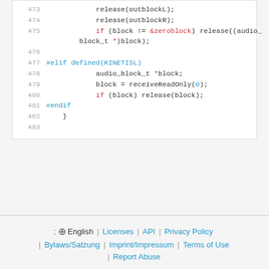Code block showing lines 473-483 with C code including release calls, conditional compilation blocks for KINETISL, audio_block_t operations.
⊕ English | Licenses | API | Privacy Policy | Bylaws/Satzung | Imprint/Impressum | Terms of Use | Report Abuse